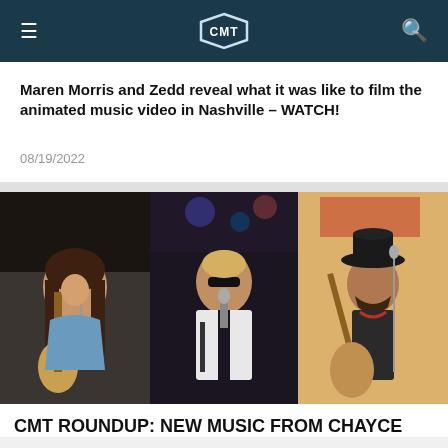CMT
Maren Morris and Zedd reveal what it was like to film the animated music video in Nashville – WATCH!
08/19/2022
[Figure (photo): Three panel photo showing three country music artists performing: a young woman with long brown hair playing guitar and singing, a male performer in a white jacket singing into a microphone, and a bearded man in a black hat playing acoustic guitar.]
CMT ROUNDUP: NEW MUSIC FROM CHAYCE